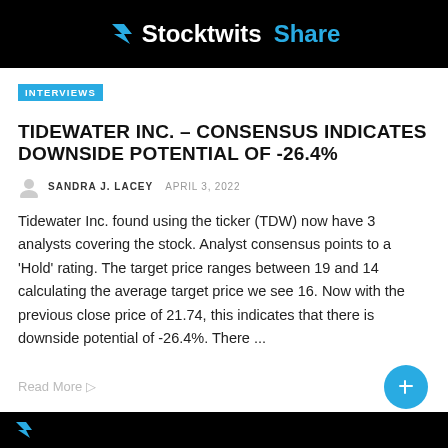[Figure (logo): Stocktwits Share banner logo on black background]
INTERVIEWS
TIDEWATER INC. – CONSENSUS INDICATES DOWNSIDE POTENTIAL OF -26.4%
SANDRA J. LACEY  APRIL 3, 2022
Tidewater Inc. found using the ticker (TDW) now have 3 analysts covering the stock. Analyst consensus points to a 'Hold' rating. The target price ranges between 19 and 14 calculating the average target price we see 16. Now with the previous close price of 21.74, this indicates that there is downside potential of -26.4%. There ...
Read More
[Figure (screenshot): Bottom black banner with partial logo/arrow]